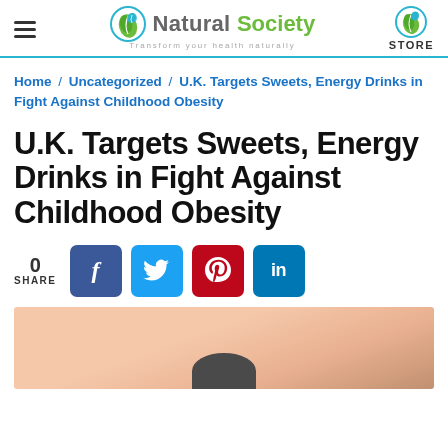Natural Society — Transform your health naturally — STORE
Home / Uncategorized / U.K. Targets Sweets, Energy Drinks in Fight Against Childhood Obesity
U.K. Targets Sweets, Energy Drinks in Fight Against Childhood Obesity
0 SHARE — Facebook, Twitter, Pinterest, LinkedIn share buttons
[Figure (photo): Partial photo of a child's torso, peach/skin-toned background with dark element at bottom center]